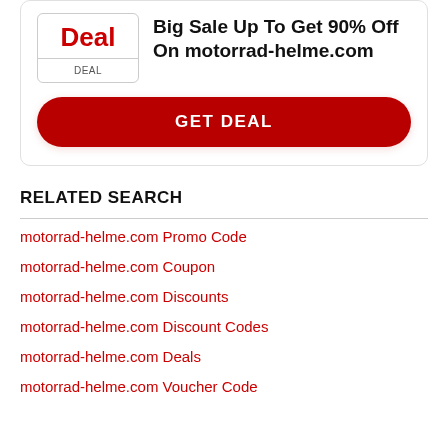Big Sale Up To Get 90% Off On motorrad-helme.com
DEAL
GET DEAL
RELATED SEARCH
motorrad-helme.com Promo Code
motorrad-helme.com Coupon
motorrad-helme.com Discounts
motorrad-helme.com Discount Codes
motorrad-helme.com Deals
motorrad-helme.com Voucher Code